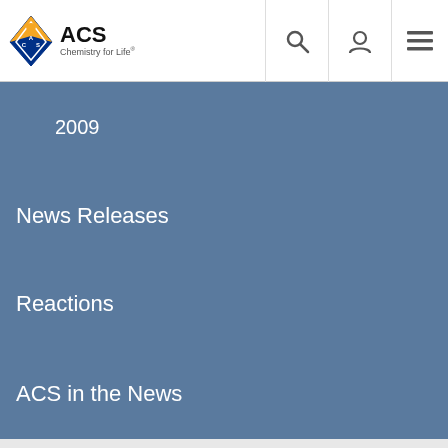ACS Chemistry for Life
2009
News Releases
Reactions
ACS in the News
Share this page:
[Figure (other): ACS Chemistry for Life footer logo on dark background]